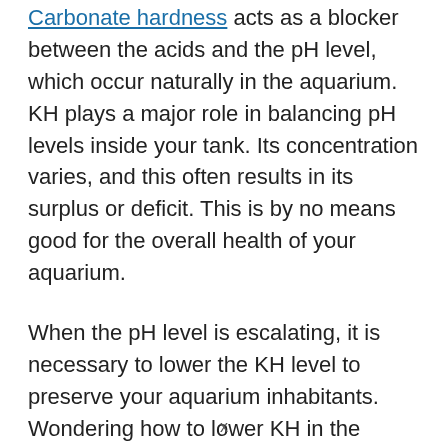Carbonate hardness acts as a blocker between the acids and the pH level, which occur naturally in the aquarium. KH plays a major role in balancing pH levels inside your tank. Its concentration varies, and this often results in its surplus or deficit. This is by no means good for the overall health of your aquarium.
When the pH level is escalating, it is necessary to lower the KH level to preserve your aquarium inhabitants. Wondering how to lower KH in the aquarium? Here are our top 5 tips and tricks to solve this problem.
x